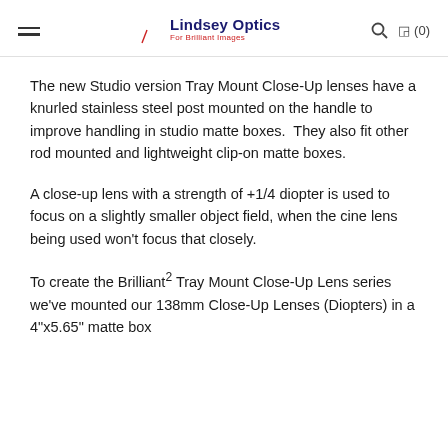Lindsey Optics — For Brilliant Images
The new Studio version Tray Mount Close-Up lenses have a knurled stainless steel post mounted on the handle to improve handling in studio matte boxes.  They also fit other rod mounted and lightweight clip-on matte boxes.
A close-up lens with a strength of +1/4 diopter is used to focus on a slightly smaller object field, when the cine lens being used won't focus that closely.
To create the Brilliant² Tray Mount Close-Up Lens series we've mounted our 138mm Close-Up Lenses (Diopters) in a 4"x5.65" matte box